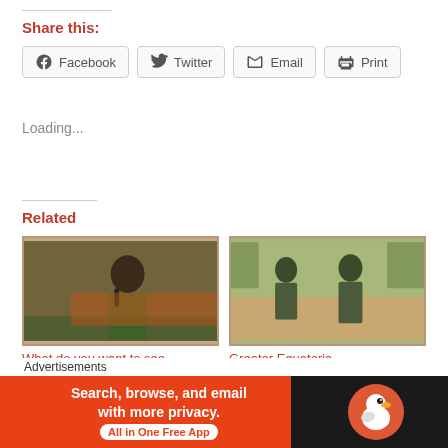Share this:
[Figure (screenshot): Share buttons row: Facebook, Twitter, Email, Print]
Loading...
Related
[Figure (photo): Man in camouflage uniform speaking into microphone at outdoor event]
What do you want to see,
[Figure (photo): Soldiers in camouflage uniforms standing outdoors]
Greater Equatoria
Advertisements
[Figure (screenshot): DuckDuckGo advertisement banner: Search, browse, and email with more privacy. All in One Free App]